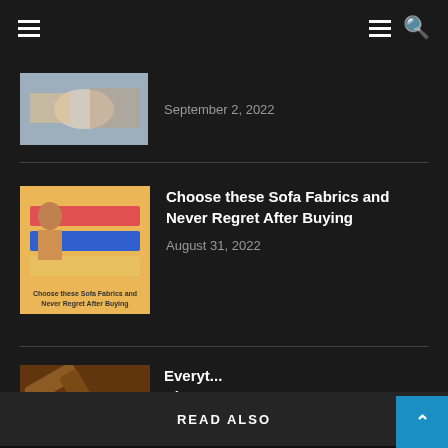Navigation header with hamburger menu and search icon
September 2, 2022
Choose these Sofa Fabrics and Never Regret After Buying
August 31, 2022
Everyt... About...
August 3...
READ ALSO
@ 2017 - 2022